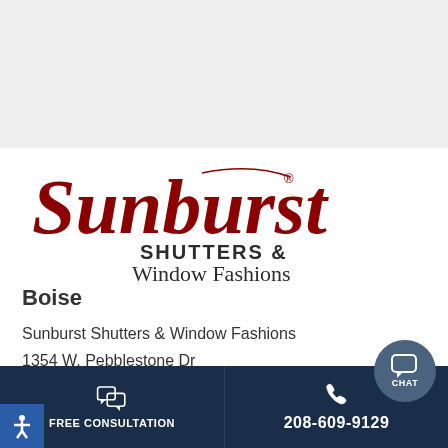[Figure (logo): Sunburst Shutters & Window Fashions logo with red cursive 'Sunburst' script and dark text 'SHUTTERS & Window Fashions']
Boise
Sunburst Shutters & Window Fashions
1354 W. Pebblestone Dr
Boise, ID 83646
Directions
FREE CONSULTATION
208-609-9129